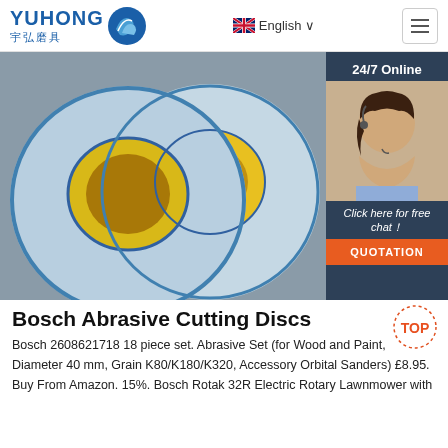[Figure (logo): Yuhong 宇弘磨具 logo with blue wave/gear icon]
[Figure (photo): Two large blue abrasive grinding wheels with yellow/blue center labels, displayed on a gray background. In the top-right corner, a dark blue chat overlay shows '24/7 Online', a female customer service agent with headset, 'Click here for free chat!' text, and an orange QUOTATION button.]
Bosch Abrasive Cutting Discs
Bosch 2608621718 18 piece set. Abrasive Set (for Wood and Paint, Diameter 40 mm, Grain K80/K180/K320, Accessory Orbital Sanders) £8.95. Buy From Amazon. 15%. Bosch Rotak 32R Electric Rotary Lawnmower with